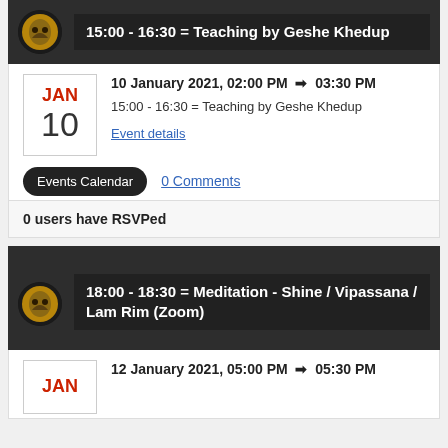15:00 - 16:30 = Teaching by Geshe Khedup
10 January 2021, 02:00 PM → 03:30 PM
15:00 - 16:30 = Teaching by Geshe Khedup
Event details
Events Calendar   0 Comments
0 users have RSVPed
18:00 - 18:30 = Meditation - Shine / Vipassana / Lam Rim (Zoom)
12 January 2021, 05:00 PM → 05:30 PM